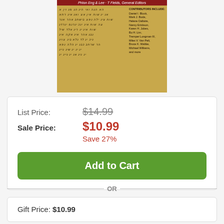[Figure (illustration): Book cover with golden/yellow texture background showing Hebrew text lines, red top bar with contributor info on the right side listing contributors including Daniel I. Block, Mark J. Boda, Helene Dallaire, Nancy Erickson, Karen H. Jobes, Bo H. Lim, Tremper Longman III, Miles V. Van Pelt, Bruce K. Waltke, Michael Williams and more.]
List Price: $14.99
Sale Price: $10.99
Save 27%
Add to Cart
OR
Gift Price: $10.99